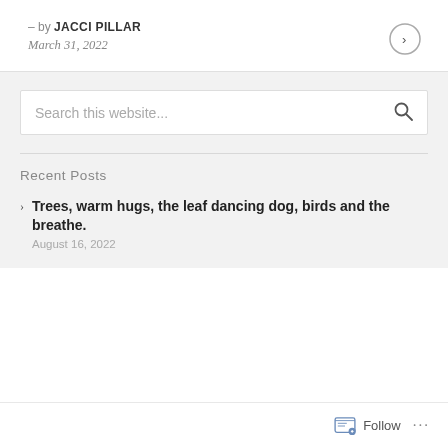– by JACCI PILLAR
March 31, 2022
Search this website...
Recent Posts
Trees, warm hugs, the leaf dancing dog, birds and the breathe. August 16, 2022
Follow ...